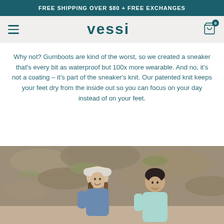FREE SHIPPING OVER $80 + FREE EXCHANGES
vessi
Why not? Gumboots are kind of the worst, so we created a sneaker that's every bit as waterproof but 100x more wearable. And no, it's not a coating – it's part of the sneaker's knit. Our patented knit keeps your feet dry from the inside out so you can focus on your day instead of on your feet.
[Figure (photo): Two people smiling outdoors near rocky terrain; a woman in a bucket hat and a man in a light blue shirt.]